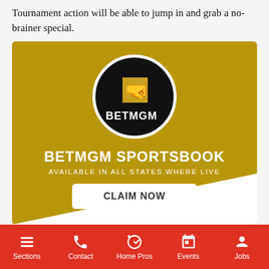Tournament action will be able to jump in and grab a no-brainer special.
[Figure (illustration): BetMGM Sportsbook advertisement banner with gold background, BetMGM circular logo, text 'BETMGM SPORTSBOOK', 'AVAILABLE IN ALL STATES WHERE LIVE', and a 'CLAIM NOW' button.]
Sections  Contact  Home Pros  Events  Jobs